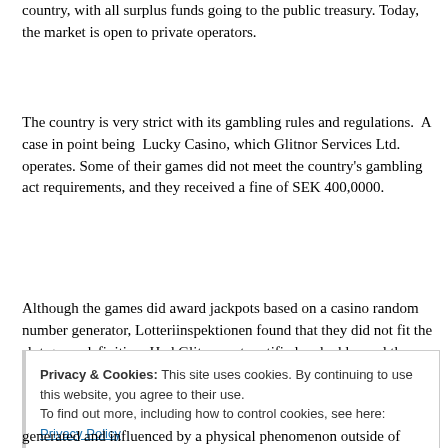country, with all surplus funds going to the public treasury. Today, the market is open to private operators.
The country is very strict with its gambling rules and regulations. A case in point being Lucky Casino, which Glitnor Services Ltd. operates. Some of their games did not meet the country's gambling act requirements, and they received a fine of SEK 400,0000.
Although the games did award jackpots based on a casino random number generator, Lotteriinspektionen found that they did not fit the slot game definition. Had Glitnor not rectified and addressed the issue immediately, the fine would have been far worse.
Privacy & Cookies: This site uses cookies. By continuing to use this website, you agree to their use. To find out more, including how to control cookies, see here: Privacy Policy
generated and influenced by a physical phenomenon outside of